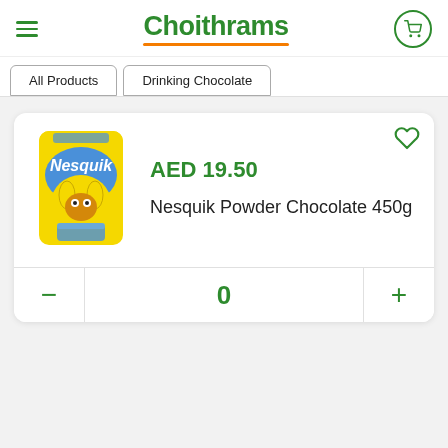Choithrams
All Products | Drinking Chocolate
[Figure (photo): Nesquik Powder Chocolate 450g yellow bag product image]
AED 19.50
Nesquik Powder Chocolate 450g
0